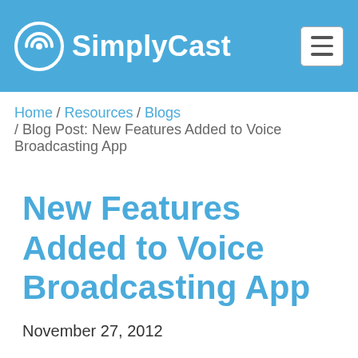SimplyCast
Home / Resources / Blogs / Blog Post: New Features Added to Voice Broadcasting App
New Features Added to Voice Broadcasting App
November 27, 2012